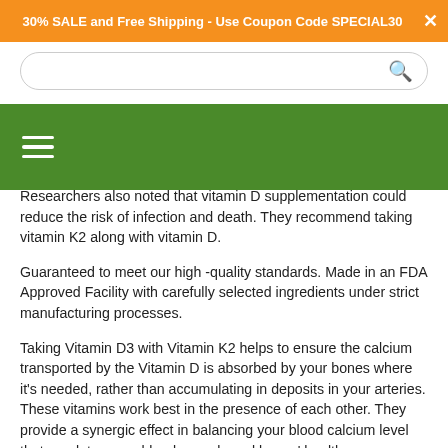30% SALE and Free Shipping - Use Coupon Code SPECIAL30
[Figure (screenshot): Search bar with rounded rectangle border and search icon]
[Figure (screenshot): Green navigation bar with white hamburger menu icon]
Researchers also noted that vitamin D supplementation could reduce the risk of infection and death. They recommend taking vitamin K2 along with vitamin D.
Guaranteed to meet our high -quality standards. Made in an FDA Approved Facility with carefully selected ingredients under strict manufacturing processes.
Taking Vitamin D3 with Vitamin K2 helps to ensure the calcium transported by the Vitamin D is absorbed by your bones where it's needed, rather than accumulating in deposits in your arteries. These vitamins work best in the presence of each other. They provide a synergic effect in balancing your blood calcium level that regulates your blood vessels and bones' health.